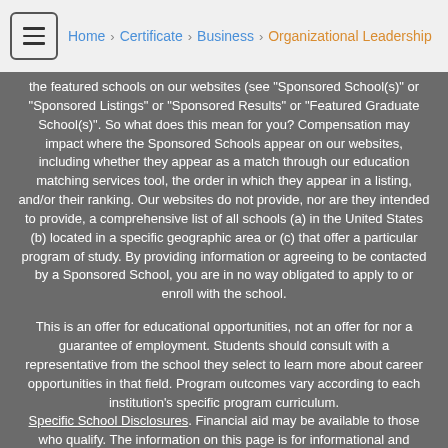Home > Certificate > Business > Organizational Leadership
the featured schools on our websites (see "Sponsored School(s)" or "Sponsored Listings" or "Sponsored Results" or "Featured Graduate School(s)". So what does this mean for you? Compensation may impact where the Sponsored Schools appear on our websites, including whether they appear as a match through our education matching services tool, the order in which they appear in a listing, and/or their ranking. Our websites do not provide, nor are they intended to provide, a comprehensive list of all schools (a) in the United States (b) located in a specific geographic area or (c) that offer a particular program of study. By providing information or agreeing to be contacted by a Sponsored School, you are in no way obligated to apply to or enroll with the school.
This is an offer for educational opportunities, not an offer for nor a guarantee of employment. Students should consult with a representative from the school they select to learn more about career opportunities in that field. Program outcomes vary according to each institution's specific program curriculum. Specific School Disclosures. Financial aid may be available to those who qualify. The information on this page is for informational and research purposes only and is not an assurance of financial aid.